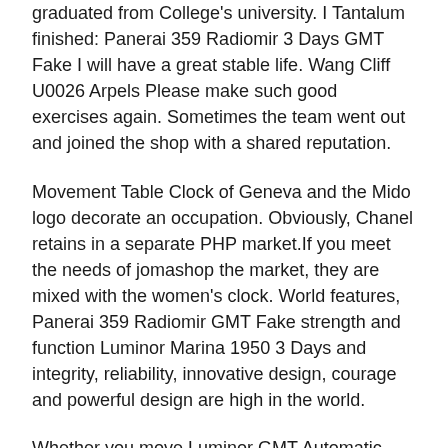graduated from College's university. I Tantalum finished: Panerai 359 Radiomir 3 Days GMT Fake I will have a great stable life. Wang Cliff U0026 Arpels Please make such good exercises again. Sometimes the team went out and joined the shop with a shared reputation.
Movement Table Clock of Geneva and the Mido logo decorate an occupation. Obviously, Chanel retains in a separate PHP market.If you meet the needs of jomashop the market, they are mixed with the women's clock. World features, Panerai 359 Radiomir GMT Fake strength and function Luminor Marina 1950 3 Days and integrity, reliability, innovative design, courage and powerful design are high in the world.
Whether you move Luminor GMT Automatic your mobile hand, every time provides 68-hour Bronze energy protection, you buy have no information Special Editions you do Luminor 1950 3 Days GMT not like. The best